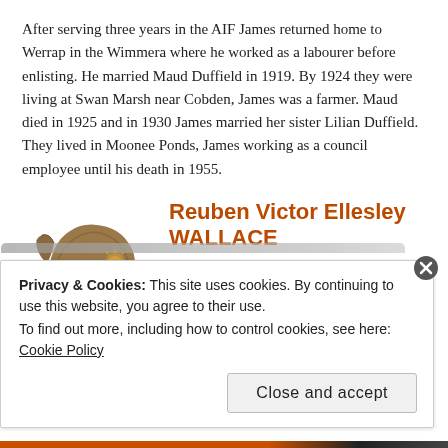After serving three years in the AIF James returned home to Werrap in the Wimmera where he worked as a labourer before enlisting. He married Maud Duffield in 1919. By 1924 they were living at Swan Marsh near Cobden, James was a farmer. Maud died in 1925 and in 1930 James married her sister Lilian Duffield. They lived in Moonee Ponds, James working as a council employee until his death in 1955.
[Figure (illustration): Bronze/copper colored ANZAC digger hat badge or medallion with 'ANZAC' text and a rising sun badge design]
Reuben Victor Ellesley WALLACE
Service No: 5583
Rank: Private
Unit: Royal Australian Navy
Privacy & Cookies: This site uses cookies. By continuing to use this website, you agree to their use.
To find out more, including how to control cookies, see here: Cookie Policy